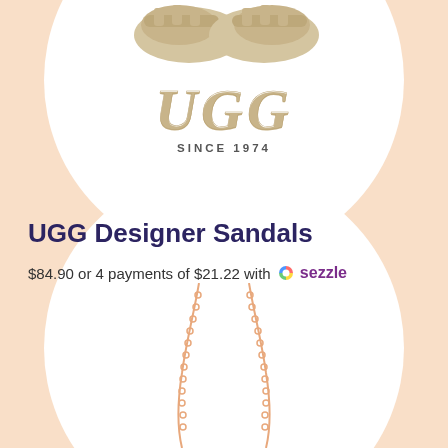[Figure (photo): UGG brand logo with 'SINCE 1974' text, in gold/tan color, shown within a white circular background with UGG sandals partially visible at top]
UGG Designer Sandals
$84.90 or 4 payments of $21.22 with sezzle
[Figure (photo): Rose gold chain necklace hanging down, partially visible at the bottom of the page within a white circular background]